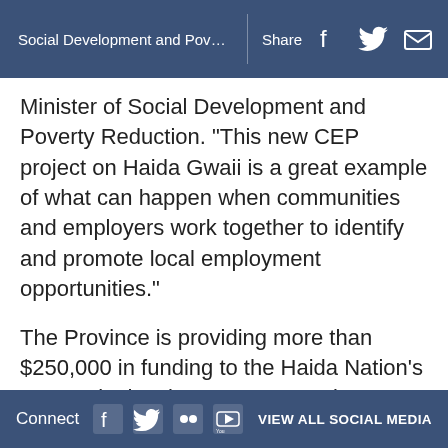Social Development and Poverty... Share
Minister of Social Development and Poverty Reduction. “This new CEP project on Haida Gwaii is a great example of what can happen when communities and employers work together to identify and promote local employment opportunities.”
The Province is providing more than $250,000 in funding to the Haida Nation’s economic development corporation, Haida Enterprise Corporation (HaiCo), to deliver skills and certification courses. Courses will be offered through two intakes of the Haida Nation’s tourism labour market training program in the
Connect VIEW ALL SOCIAL MEDIA